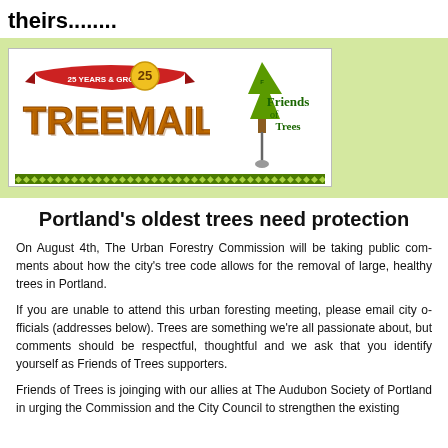theirs........
[Figure (logo): Treemail 25 Years & Growing logo with Friends of Trees logo]
Portland's oldest trees need protection
On August 4th, The Urban Forestry Commission will be taking public comments about how the city's tree code allows for the removal of large, healthy trees in Portland.
If you are unable to attend this urban foresting meeting, please email city officials (addresses below). Trees are something we're all passionate about, but comments should be respectful, thoughtful and we ask that you identify yourself as Friends of Trees supporters.
Friends of Trees is joinging with our allies at The Audubon Society of Portland in urging the Commission and the City Council to strengthen the existing